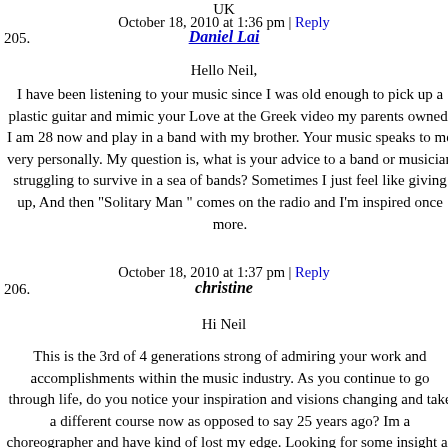UK
October 18, 2010 at 1:36 pm | Reply
205.
Daniel Lai
Hello Neil,
I have been listening to your music since I was old enough to pick up a plastic guitar and mimic your Love at the Greek video my parents owned. I am 28 now and play in a band with my brother. Your music speaks to me very personally. My question is, what is your advice to a band or musician struggling to survive in a sea of bands? Sometimes I just feel like giving up, And then "Solitary Man " comes on the radio and I'm inspired once more.
October 18, 2010 at 1:37 pm | Reply
206.
christine
Hi Neil
This is the 3rd of 4 generations strong of admiring your work and accomplishments within the music industry. As you continue to go through life, do you notice your inspiration and visions changing and take a different course now as opposed to say 25 years ago? Im a choreographer and have kind of lost my edge. Looking for some insight as